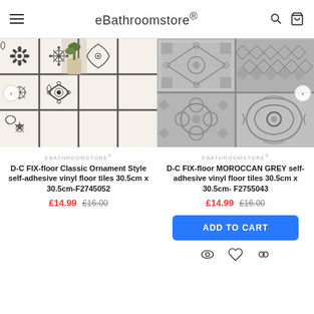eBathroomstore®
[Figure (photo): D-C FIX-floor Classic Ornament Style self-adhesive vinyl floor tiles — white tiles with black floral/ornamental pattern, with a small potted plant visible]
[Figure (photo): D-C FIX-floor MOROCCAN GREY self-adhesive vinyl floor tiles — grey patterned tiles with Moroccan/geometric design]
EBATHROOMSTORE®
D-C FIX-floor Classic Ornament Style self-adhesive vinyl floor tiles 30.5cm x 30.5cm-F2745052
£14.99  £16.00
EBATHROOMSTORE®
D-C FIX-floor MOROCCAN GREY self-adhesive vinyl floor tiles 30.5cm x 30.5cm- F2755043
£14.99  £16.00
ADD TO CART